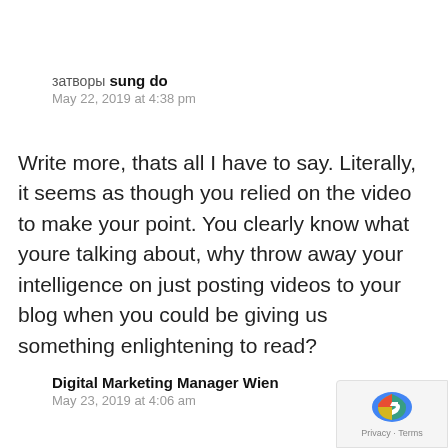затворы sung do
May 22, 2019 at 4:38 pm
Write more, thats all I have to say. Literally, it seems as though you relied on the video to make your point. You clearly know what youre talking about, why throw away your intelligence on just posting videos to your blog when you could be giving us something enlightening to read?
Digital Marketing Manager Wien
May 23, 2019 at 4:06 am